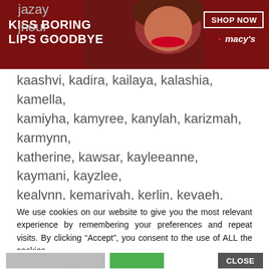[Figure (photo): Macy's advertisement banner for lips/makeup product with text 'KISS BORING LIPS GOODBYE' and a woman with red lips, with 'SHOP NOW' button and Macy's logo]
jazay
jhour
kaashvi, kadira, kailaya, kalashia, kamella, kamiyha, kamyree, kanylah, karizmah, karmynn, katherine, kawsar, kayleeanne, kaymani, kayzlee, kealynn, kemariyah, kerlin, kevaeh, keylli, khaelyn, khaleia, khloei, khloye, kimyia, kinli, kinzlie, kiralee, kiylie, koli, kollins, kollyn, koraline, kylaya, kynnlie, kynzley, kynzlie, laliyah, layelle, lazariya, leigh, leilanii, lev, lexanie, lianett, lillyaunna, lilyah,
We use cookies on our website to give you the most relevant experience by remembering your preferences and repeat visits. By clicking “Accept”, you consent to the use of ALL the cookies.
Do not sell my personal information.
[Figure (photo): Bloomingdale's advertisement with logo, text 'View Today's Top Deals!' and a woman in a hat with 'SHOP NOW >' button]